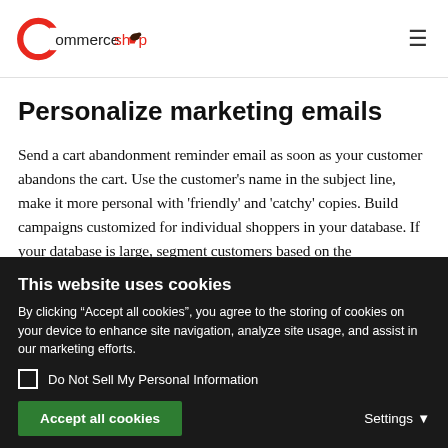CommerceShop
Personalize marketing emails
Send a cart abandonment reminder email as soon as your customer abandons the cart. Use the customer’s name in the subject line, make it more personal with ‘friendly’ and ‘catchy’ copies. Build campaigns customized for individual shoppers in your database. If your database is large, segment customers based on the...
This website uses cookies
By clicking “Accept all cookies”, you agree to the storing of cookies on your device to enhance site navigation, analyze site usage, and assist in our marketing efforts.
Do Not Sell My Personal Information
Accept all cookies   Settings